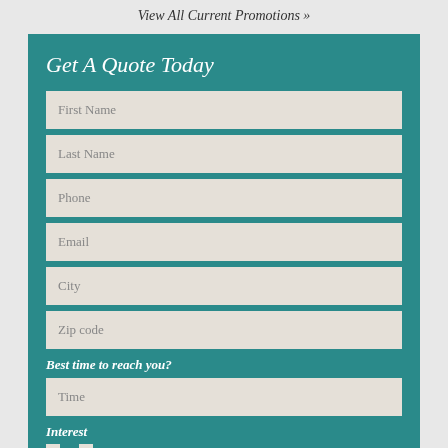View All Current Promotions »
Get A Quote Today
First Name
Last Name
Phone
Email
City
Zip code
Best time to reach you?
Time
Interest